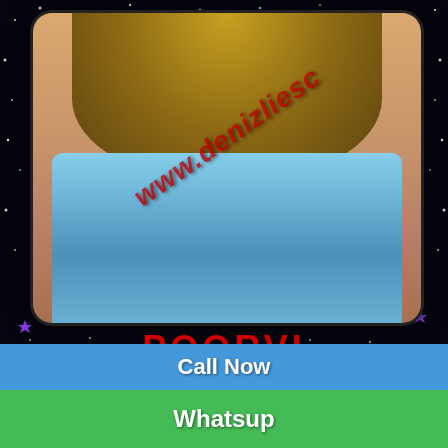[Figure (photo): Photo of a blonde woman in a blue bodysuit and tied denim shirt with watermark text 'www.denizliesc' overlaid diagonally]
POORVI
69 EXPERT
VIP ESCORTS
Call Now
Whatsup